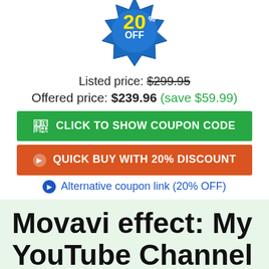[Figure (illustration): Blue starburst badge with '20% OFF' text in yellow and white]
Listed price: $299.95
Offered price: $239.96 (save $59.99)
CLICK TO SHOW COUPON CODE
QUICK BUY WITH 20% DISCOUNT
Alternative coupon link (20% OFF)
Movavi effect: My YouTube Channel